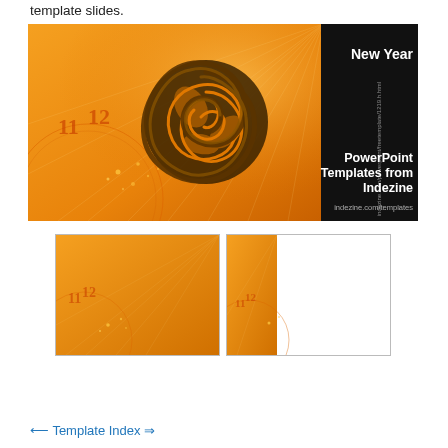template slides.
[Figure (illustration): New Year PowerPoint template preview image with orange background, clock imagery on left, decorative swirl logo in center, black panel on right with text 'New Year', 'PowerPoint Templates from Indezine', 'indezine.com/templates']
[Figure (illustration): Thumbnail of New Year template slide with orange background and clock imagery - title slide layout]
[Figure (illustration): Thumbnail of New Year template slide with orange accent on left and white content area - content slide layout]
← Template Index ⇒